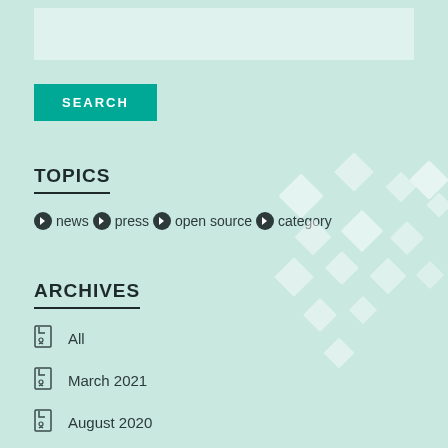[Figure (other): Search input text box (light colored rectangle)]
SEARCH
TOPICS
news  press  open source  category
ARCHIVES
All
March 2021
August 2020
March 2020
February 2020